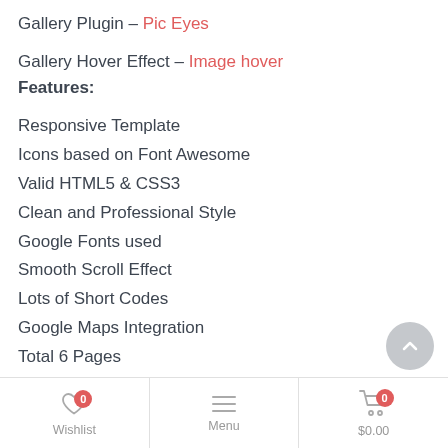Gallery Plugin – Pic Eyes
Gallery Hover Effect – Image hover
Features:
Responsive Template
Icons based on Font Awesome
Valid HTML5 & CSS3
Clean and Professional Style
Google Fonts used
Smooth Scroll Effect
Lots of Short Codes
Google Maps Integration
Total 6 Pages
Well Commented
Bootstrap Framework
And much more...
Wishlist 0  Menu  $0.00 0